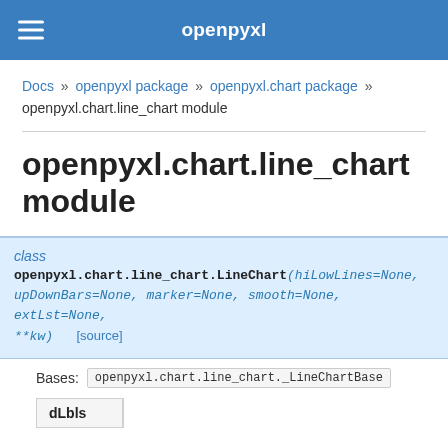openpyxl
Docs » openpyxl package » openpyxl.chart package » openpyxl.chart.line_chart module
openpyxl.chart.line_chart module
class openpyxl.chart.line_chart.LineChart(hiLowLines=None, upDownBars=None, marker=None, smooth=None, extLst=None, **kw) [source]
Bases: openpyxl.chart.line_chart._LineChartBase
| dLbls |
| --- |